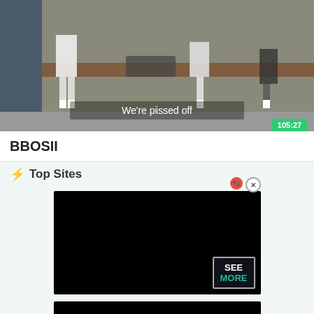[Figure (screenshot): Video thumbnail showing people in a locker room with subtitle 'We're pissed off' and timer badge '105:27']
BBOSII
⚡ Top Sites
[Figure (screenshot): Black ad block with SEE MORE badge in bottom right, close and settings buttons at top right]
[Figure (screenshot): Black ad block with SEE MORE badge in bottom right]